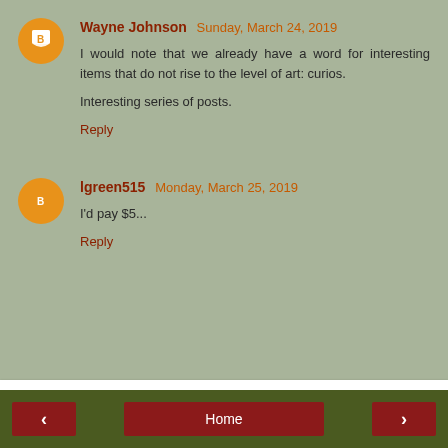Wayne Johnson  Sunday, March 24, 2019
I would note that we already have a word for interesting items that do not rise to the level of art: curios.

Interesting series of posts.

Reply
lgreen515  Monday, March 25, 2019
I'd pay $5...

Reply
Enter Comment
< | Home | >